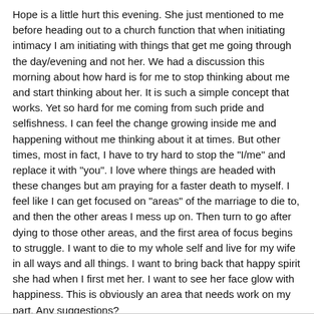Hope is a little hurt this evening. She just mentioned to me before heading out to a church function that when initiating intimacy I am initiating with things that get me going through the day/evening and not her. We had a discussion this morning about how hard is for me to stop thinking about me and start thinking about her. It is such a simple concept that works. Yet so hard for me coming from such pride and selfishness. I can feel the change growing inside me and happening without me thinking about it at times. But other times, most in fact, I have to try hard to stop the "I/me" and replace it with "you". I love where things are headed with these changes but am praying for a faster death to myself. I feel like I can get focused on "areas" of the marriage to die to, and then the other areas I mess up on. Then turn to go after dying to those other areas, and the first area of focus begins to struggle. I want to die to my whole self and live for my wife in all ways and all things. I want to bring back that happy spirit she had when I first met her. I want to see her face glow with happiness. This is obviously an area that needs work on my part. Any suggestions?